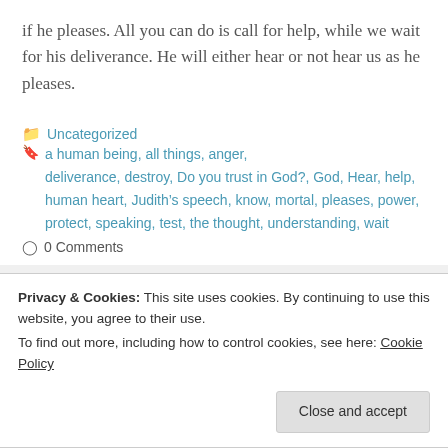if he pleases. All you can do is call for help, while we wait for his deliverance. He will either hear or not hear us as he pleases.
Uncategorized
a human being, all things, anger, deliverance, destroy, Do you trust in God?, God, Hear, help, human heart, Judith’s speech, know, mortal, pleases, power, protect, speaking, test, the thought, understanding, wait
0 Comments
Privacy & Cookies: This site uses cookies. By continuing to use this website, you agree to their use.
To find out more, including how to control cookies, see here: Cookie Policy
Close and accept